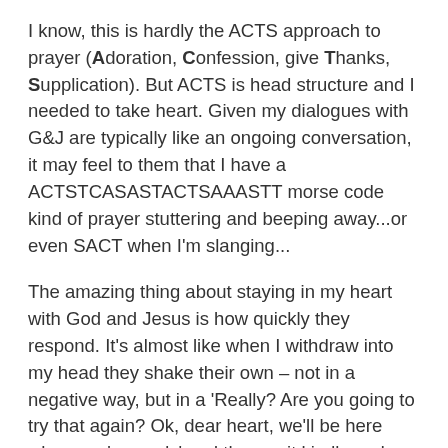I know, this is hardly the ACTS approach to prayer (Adoration, Confession, give Thanks, Supplication). But ACTS is head structure and I needed to take heart. Given my dialogues with G&J are typically like an ongoing conversation, it may feel to them that I have a ACTSTCASASTACTSAAASTT morse code kind of prayer stuttering and beeping away...or even SACT when I'm slanging...
The amazing thing about staying in my heart with God and Jesus is how quickly they respond. It's almost like when I withdraw into my head they shake their own – not in a negative way, but in a 'Really? Are you going to try that again? Ok, dear heart, we'll be here when you're ready' and they wait kindly and patiently for me to sort it out.